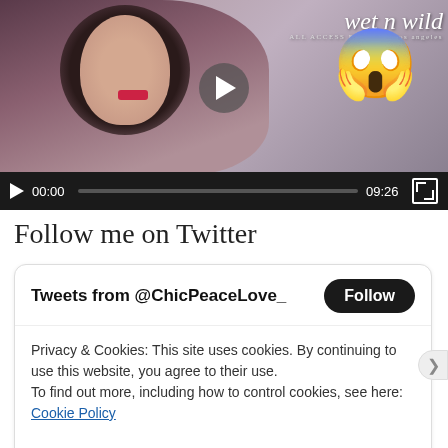[Figure (screenshot): Video player showing a woman with dark hair and bright pink lipstick with a Wet n Wild branding logo and a shocked face emoji overlay. Video controls show 00:00 / 09:26.]
Follow me on Twitter
Tweets from @ChicPeaceLove_
Privacy & Cookies: This site uses cookies. By continuing to use this website, you agree to their use.
To find out more, including how to control cookies, see here:
Cookie Policy
Close and accept